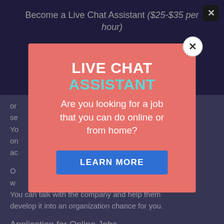Become a Live Chat Assistant ($25-$35 per hour)
or se... You on a...
O... w... You can talk with the company and help them develop it into an organization chance for you.
Application for Online Jobs
[Figure (screenshot): Popup modal overlay with salmon/coral background. Title reads 'LIVE CHAT ASSISTANT' (LIVE CHAT in white bold, ASSISTANT in teal/cyan). Subtext: 'Are you looking for a job that you can do online or from home?' Blue button labeled 'LEARN MORE'. White circle close button (X) at top-right of popup.]